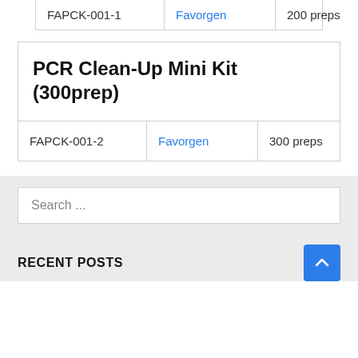| SKU | Brand | Qty | Price |
| --- | --- | --- | --- |
| FAPCK-001-1 | Favorgen | 200 preps | EUR 169 |
PCR Clean-Up Mini Kit (300prep)
| SKU | Brand | Qty | Price |
| --- | --- | --- | --- |
| FAPCK-001-2 | Favorgen | 300 preps | EUR 189 |
Search ...
RECENT POSTS